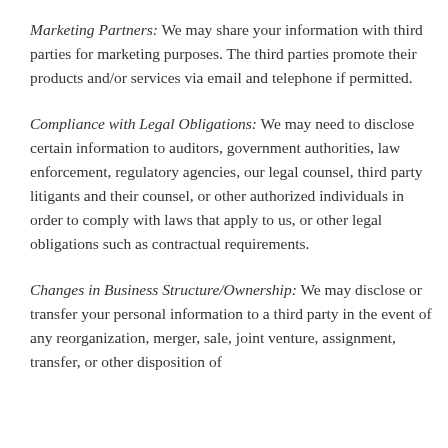Marketing Partners: We may share your information with third parties for marketing purposes. The third parties promote their products and/or services via email and telephone if permitted.
Compliance with Legal Obligations: We may need to disclose certain information to auditors, government authorities, law enforcement, regulatory agencies, our legal counsel, third party litigants and their counsel, or other authorized individuals in order to comply with laws that apply to us, or other legal obligations such as contractual requirements.
Changes in Business Structure/Ownership: We may disclose or transfer your personal information to a third party in the event of any reorganization, merger, sale, joint venture, assignment, transfer, or other disposition of